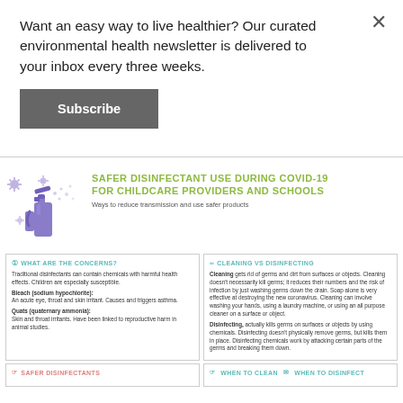Want an easy way to live healthier? Our curated environmental health newsletter is delivered to your inbox every three weeks.
Subscribe
SAFER DISINFECTANT USE DURING COVID-19 FOR CHILDCARE PROVIDERS AND SCHOOLS
Ways to reduce transmission and use safer products
WHAT ARE THE CONCERNS?
Traditional disinfectants can contain chemicals with harmful health effects. Children are especially susceptible.
Bleach (sodium hypochlorite): An acute eye, throat and skin irritant. Causes and triggers asthma.
Quats (quaternary ammonia): Skin and throat irritants. Have been linked to reproductive harm in animal studies.
CLEANING VS DISINFECTING
Cleaning gets rid of germs and dirt from surfaces or objects. Cleaning doesn't necessarily kill germs; it reduces their numbers and the risk of infection by just washing germs down the drain. Soap alone is very effective at destroying the new coronavirus. Cleaning can involve washing your hands, using a laundry machine, or using an all purpose cleaner on a surface or object.
Disinfecting, actually kills germs on surfaces or objects by using chemicals. Disinfecting doesn't physically remove germs, but kills them in place. Disinfecting chemicals work by attacking certain parts of the germs and breaking them down.
SAFER DISINFECTANTS
WHEN TO CLEAN   WHEN TO DISINFECT